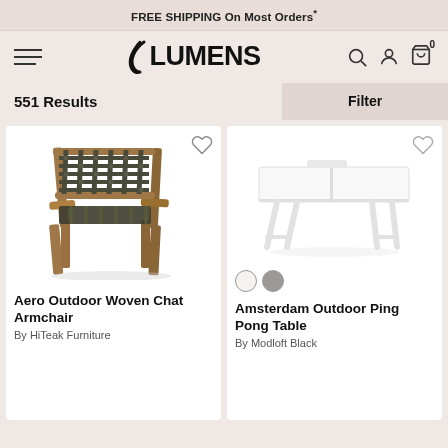FREE SHIPPING On Most Orders*
[Figure (logo): Lumens logo with hamburger menu and navigation icons]
551 Results
Filter
[Figure (photo): Aero Outdoor Woven Chat Armchair - woven dark strap back chair with wooden frame]
[Figure (photo): Amsterdam Outdoor Ping Pong Table - white rectangular table with white metal legs, with two color swatches]
Aero Outdoor Woven Chat Armchair
By HiTeak Furniture
Amsterdam Outdoor Ping Pong Table
By Modloft Black